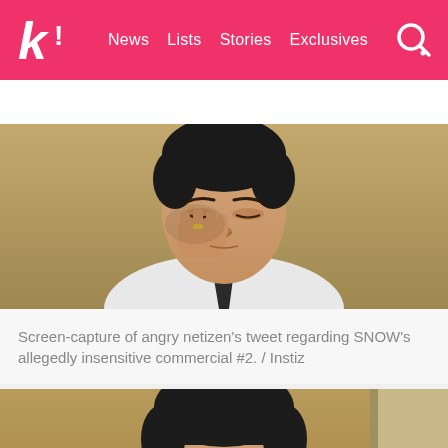k! News Lists Stories Exclusives
BTS BLACKPINK TWICE aespa NCT IVE SEVE
[Figure (photo): Young Asian man in white shirt and dark tie with his hand raised to his face, appearing emotional or crying, from SNOW commercial]
Screen-capture of angry netizen's tweet regarding SNOW's allegedly insensitive commercial #2. / Instiz
[Figure (photo): Young Asian man crying with mouth open, appearing to be weeping or sobbing, from SNOW commercial]